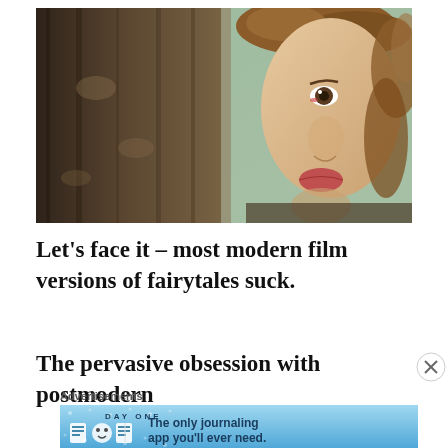[Figure (photo): A young woman with curly light brown hair peering from behind a tree trunk, looking sideways at camera with expressive eyes. Blurred green background.]
Let’s face it – most modern film versions of fairytales suck.
The pervasive obsession with postmodern
Advertisements
[Figure (screenshot): Day One journaling app advertisement with blue background, app icons, and text: The only journaling app you’ll ever need.]